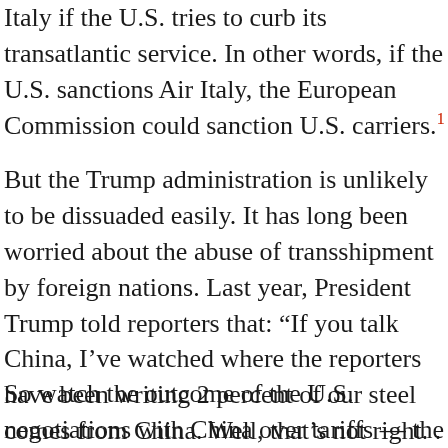Italy if the U.S. tries to curb its transatlantic service. In other words, if the U.S. sanctions Air Italy, the European Commission could sanction U.S. carriers.1
But the Trump administration is unlikely to be dissuaded easily. It has long been worried about the abuse of transshipment by foreign nations. Last year, President Trump told reporters that: “If you talk China, I’ve watched where the reporters have been writing 2 percent of our steel comes from China. Well, that’s not right. . . they trans ship all through other countries.”
So watch the outcome of the U.S. negotiations with China over tariffs — the June truce both countries declared to block scheduled tariff increases is set